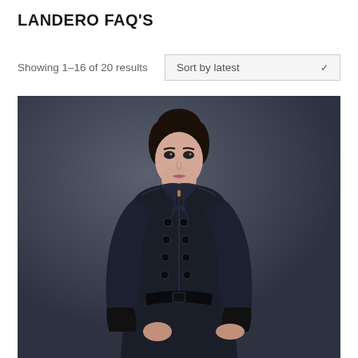LANDERO FAQ'S
Showing 1–16 of 20 results
Sort by latest
[Figure (photo): Fashion photo of a young woman with dark hair in an updo, wearing a dark navy/black double-breasted military-style coat with large buttons and leather cuffs, posed with one hand on hip against a dark gray background.]